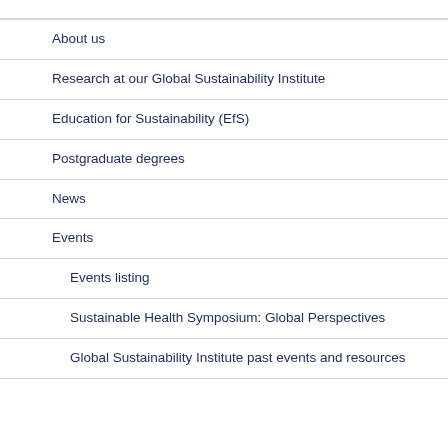About us
Research at our Global Sustainability Institute
Education for Sustainability (EfS)
Postgraduate degrees
News
Events
Events listing
Sustainable Health Symposium: Global Perspectives
Global Sustainability Institute past events and resources